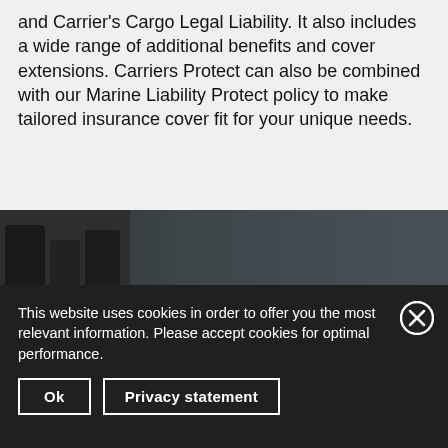and Carrier's Cargo Legal Liability. It also includes a wide range of additional benefits and cover extensions. Carriers Protect can also be combined with our Marine Liability Protect policy to make tailored insurance cover fit for your unique needs.
[Figure (photo): Dark photo strip showing silhouetted figures against a dark grey/blue background, partially visible at the bottom of a web page section.]
This website uses cookies in order to offer you the most relevant information. Please accept cookies for optimal performance.
Ok
Privacy statement